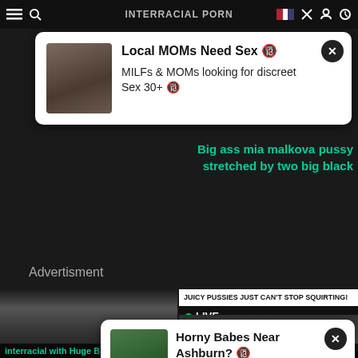INTERRACIAL PORN
[Figure (screenshot): Ad popup: Local MOMs Need Sex - MILFs & MOMs looking for discreet Sex 30+]
Big ass mia malkova pussy stretched by two big black
Advertisment
[Figure (screenshot): Video thumbnail with duration 54:41]
[Figure (screenshot): Video thumbnail: JUICY PUSSIES JUST CAN'T STOP SQUIRTING! LIVE]
interracial with Huge Black
Advertisment
[Figure (screenshot): Ad popup: Horny Babes Near Ashburn? - Why the FUCK would you pay for SEX?]